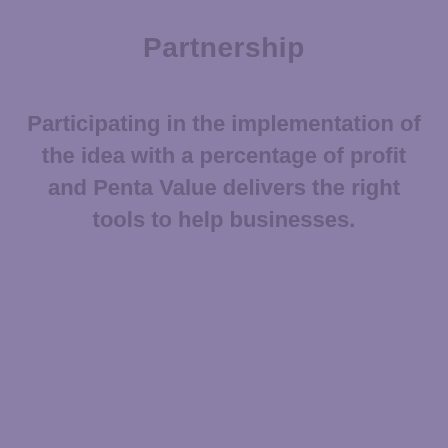Partnership
Participating in the implementation of the idea with a percentage of profit and Penta Value delivers the right tools to help businesses.